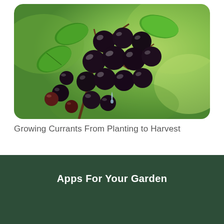[Figure (photo): Close-up photo of black currant berries on a branch with green leaves, glistening with water droplets, against a blurred green background. The image has rounded top corners.]
Growing Currants From Planting to Harvest
Apps For Your Garden